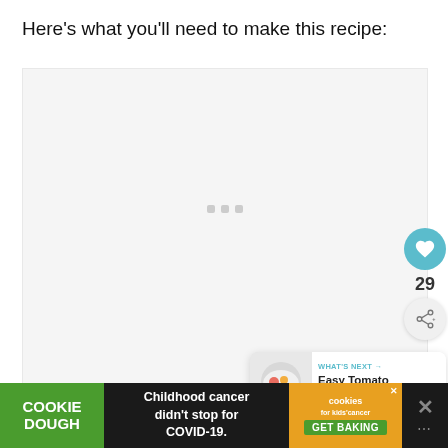Here's what you'll need to make this recipe:
[Figure (photo): Loading placeholder image area with three gray dots centered, representing an image that has not yet loaded. A heart/like button (teal circle with heart icon) and share button appear on the right side, along with a count of 29.]
WHAT'S NEXT → Easy Tomato Salad with...
[Figure (infographic): Advertisement banner at the bottom: Cookie Dough brand ad. Left green section shows 'COOKIE DOUGH'. Middle dark section reads 'Childhood cancer didn't stop for COVID-19.' Right orange section shows cookies for kids cancer logo with 'GET BAKING' button.]